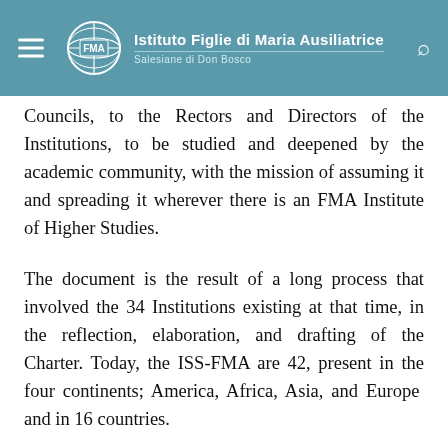FMA — Istituto Figlie di Maria Ausiliatrice — Salesiane di Don Bosco
Councils, to the Rectors and Directors of the Institutions, to be studied and deepened by the academic community, with the mission of assuming it and spreading it wherever there is an FMA Institute of Higher Studies.
The document is the result of a long process that involved the 34 Institutions existing at that time, in the reflection, elaboration, and drafting of the Charter. Today, the ISS-FMA are 42, present in the four continents; America, Africa, Asia, and Europe and in 16 countries.
The Identity Charter is presented as “a compass for not losing the way as an Institution in the face of the multiple